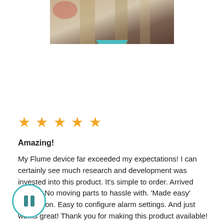[Figure (photo): Partial photo of boxes/packages at top of page with a teal downward-pointing arrow/chevron below]
★ ★ ★ ★ ★
Amazing!
My Flume device far exceeded my expectations! I can certainly see much research and development was invested into this product. It's simple to order. Arrived quickly. No moving parts to hassle with. 'Made easy' installation. Easy to configure alarm settings. And just works great! Thank you for making this product available! (and a rebate to boot! Bonus!)